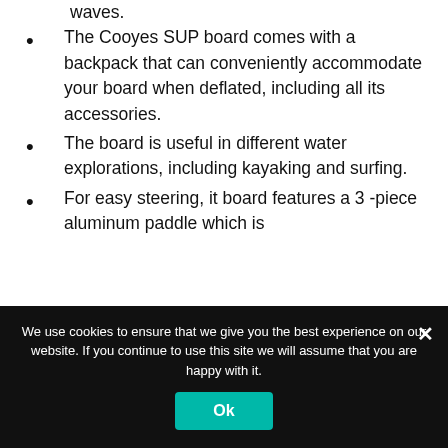especially when surfing strong waves.
The Cooyes SUP board comes with a backpack that can conveniently accommodate your board when deflated, including all its accessories.
The board is useful in different water explorations, including kayaking and surfing.
For easy steering, it board features a 3 -piece aluminum paddle which is
We use cookies to ensure that we give you the best experience on our website. If you continue to use this site we will assume that you are happy with it.